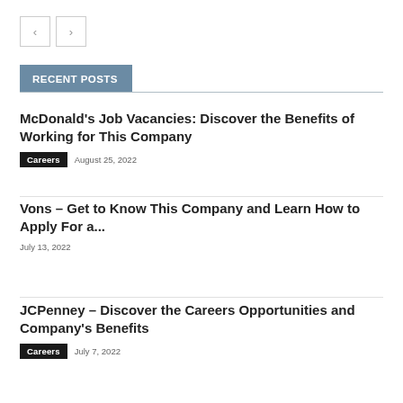[Figure (other): Navigation previous/next arrow buttons]
RECENT POSTS
McDonald's Job Vacancies: Discover the Benefits of Working for This Company
Careers  August 25, 2022
Vons – Get to Know This Company and Learn How to Apply For a...
July 13, 2022
JCPenney – Discover the Careers Opportunities and Company's Benefits
Careers  July 7, 2022